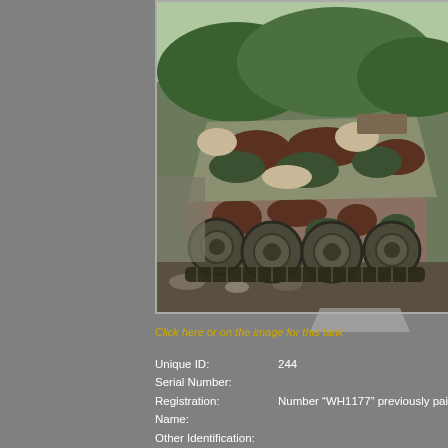[Figure (photo): A WWII German tank destroyer (Hetzer/Jagdpanzer) with camouflage paint scheme of green, brown and beige, photographed at a museum or outdoor display. The vehicle shows large road wheels and tank tracks, with forested hills visible in the background.]
Click here or on the image for this tank
| Unique ID: | 244 |
| Serial Number: |  |
| Registration: | Number “WH1177” previously pai |
| Name: |  |
| Other Identification: |  |